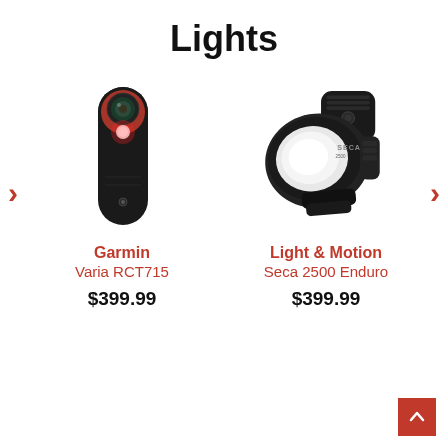Lights
[Figure (photo): Garmin Varia RCT715 cycling radar tail light/camera — black device with round red LED and camera lens]
Garmin
Varia RCT715
$399.99
[Figure (photo): Light & Motion Seca 2500 Enduro bicycle headlight — large black helmet-mount light with bright white lens]
Light & Motion
Seca 2500 Enduro
$399.99